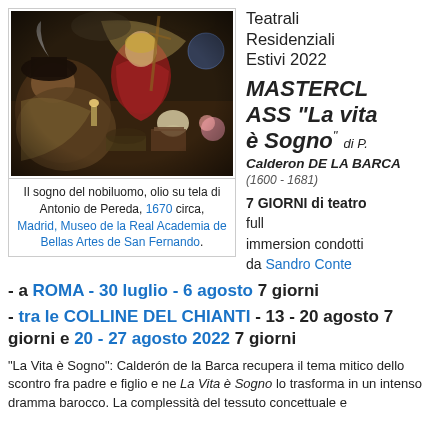[Figure (photo): Baroque oil painting 'Il sogno del nobiluomo' by Antonio de Pereda, depicting a sleeping nobleman surrounded by symbolic objects including a skull, books, flowers, and angelic figure]
Il sogno del nobiluomo, olio su tela di Antonio de Pereda, 1670 circa, Madrid, Museo de la Real Academia de Bellas Artes de San Fernando.
Teatrali Residenziali Estivi 2022
MASTERCLASS "La vita è Sogno" di P.
Calderon DE LA BARCA
(1600 - 1681)
7 GIORNI di teatro full immersion condotti da Sandro Conte
- a ROMA - 30 luglio - 6 agosto 7 giorni
- tra le COLLINE DEL CHIANTI - 13 - 20 agosto 7 giorni e 20 - 27 agosto 2022 7 giorni
"La Vita è Sogno": Calderón de la Barca recupera il tema mitico dello scontro fra padre e figlio e ne La Vita è Sogno lo trasforma in un intenso dramma barocco. La complessità del tessuto concettuale e